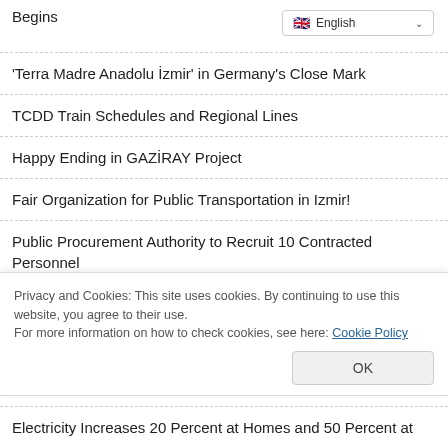Begins
[Figure (screenshot): Language selector dropdown showing English with flag icon]
'Terra Madre Anadolu İzmir' in Germany's Close Mark
TCDD Train Schedules and Regional Lines
Happy Ending in GAZİRAY Project
Fair Organization for Public Transportation in Izmir!
Public Procurement Authority to Recruit 10 Contracted Personnel
Presidency of Supreme Court to Recruit 151 Contracted Personnel
Ministry of Justice to Procure 1500 Candidates for Judges and
Privacy and Cookies: This site uses cookies. By continuing to use this website, you agree to their use.
For more information on how to check cookies, see here: Cookie Policy
Electricity Increases 20 Percent at Homes and 50 Percent at